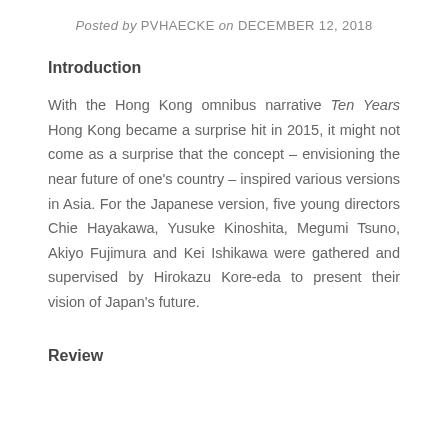Posted by PVHAECKE on DECEMBER 12, 2018
Introduction
With the Hong Kong omnibus narrative Ten Years Hong Kong became a surprise hit in 2015, it might not come as a surprise that the concept – envisioning the near future of one's country – inspired various versions in Asia. For the Japanese version, five young directors Chie Hayakawa, Yusuke Kinoshita, Megumi Tsuno, Akiyo Fujimura and Kei Ishikawa were gathered and supervised by Hirokazu Kore-eda to present their vision of Japan's future.
Review